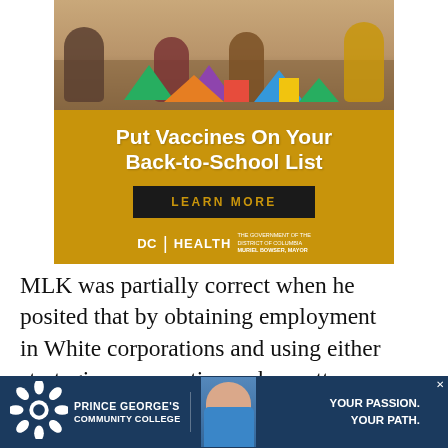[Figure (infographic): DC Health advertisement: 'Put Vaccines On Your Back-to-School List' with a gold background, photo of children doing crafts at a table, a 'LEARN MORE' button, and DC Health / Muriel Bowser Mayor branding]
MLK was partially correct when he posited that by obtaining employment in White corporations and using either strategic consumption or boycotts as leverage, Blacks could secure economic equality, just as we
[Figure (infographic): Prince George's Community College advertisement: dark blue background, PGCC logo, text 'PRINCE GEORGE'S COMMUNITY COLLEGE', tagline 'YOUR PASSION. YOUR PATH.']